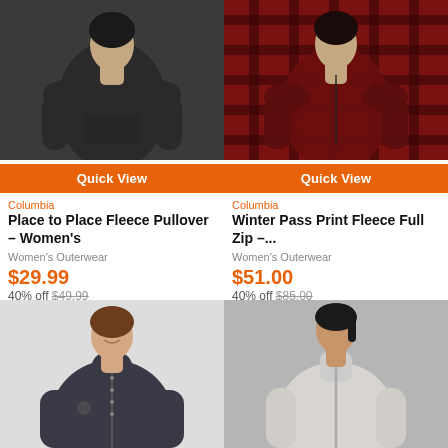[Figure (photo): Woman wearing dark gray Columbia Place to Place Fleece Pullover, upper body view]
[Figure (photo): Woman wearing red and black plaid Columbia Winter Pass Print Fleece Full Zip, upper body view]
Quick View
Quick View
Columbia
Place to Place Fleece Pullover – Women's
Women's Outerwear
$29.99
40% off $49.99
Columbia
Winter Pass Print Fleece Full Zip –...
Women's Outerwear
$51.00
40% off $85.00
[Figure (photo): Woman wearing charcoal dark fleece full zip jacket, smiling, full body view]
[Figure (photo): Woman wearing light gray fleece zip jacket, gray background]